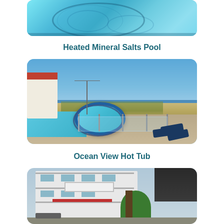[Figure (photo): Aerial view of a heated mineral salts pool with turquoise blue water, partially visible at top of page]
Heated Mineral Salts Pool
[Figure (photo): Ocean view hot tub with circular jacuzzi surrounded by glass fence, lounge chairs, sandy dunes and ocean in background under clear blue sky]
Ocean View Hot Tub
[Figure (photo): Motel exterior building with sign, trees in foreground, partially visible at bottom of page]